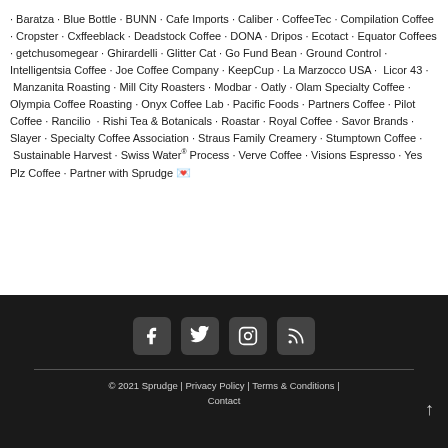· Baratza · Blue Bottle · BUNN · Cafe Imports · Caliber · CoffeeTec · Compilation Coffee · Cropster · Cxffeeblack · Deadstock Coffee · DONA · Dripos · Ecotact · Equator Coffees · getchusomegear · Ghirardelli · Glitter Cat · Go Fund Bean · Ground Control · Intelligentsia Coffee · Joe Coffee Company · KeepCup · La Marzocco USA · Licor 43 · Manzanita Roasting · Mill City Roasters · Modbar · Oatly · Olam Specialty Coffee · Olympia Coffee Roasting · Onyx Coffee Lab · Pacific Foods · Partners Coffee · Pilot Coffee · Rancilio · Rishi Tea & Botanicals · Roastar · Royal Coffee · Savor Brands · Slayer · Specialty Coffee Association · Straus Family Creamery · Stumptown Coffee · Sustainable Harvest · Swiss Water® Process · Verve Coffee · Visions Espresso · Yes Plz Coffee · Partner with Sprudge 💌
[Figure (other): Footer with social media icons (Facebook, Twitter, Instagram, RSS), a horizontal divider, copyright text '© 2021 Sprudge | Privacy Policy | Terms & Conditions | Contact', and a scroll-to-top arrow.]
© 2021 Sprudge | Privacy Policy | Terms & Conditions | Contact